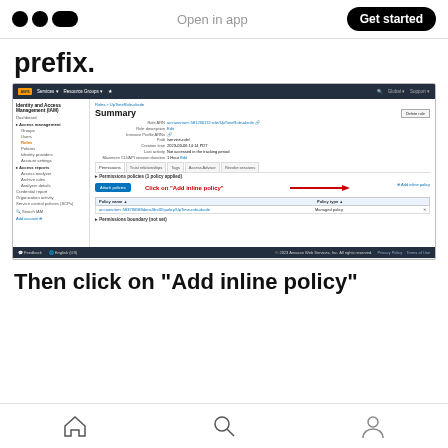Open in app | Get started
prefix.
[Figure (screenshot): AWS IAM console screenshot showing a Role Summary page with permissions policies section. A red arrow points to the 'Add inline policy' button on the right side, with text 'Click on "Add inline policy"' annotated in red.]
Then click on “Add inline policy”
Home | Search | Profile icons